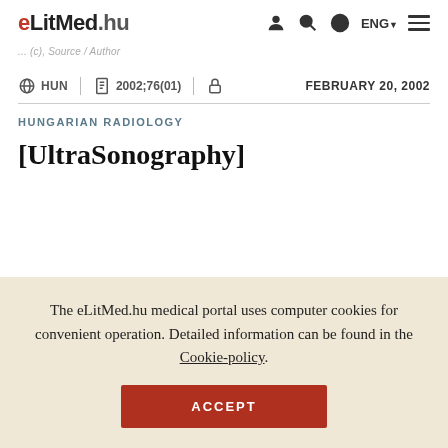eLitMed.hu — navigation bar with ENG, search, globe, menu icons
... (breadcrumb/path, partially visible)
HUN | 2002;76(01) | [lock icon] | FEBRUARY 20, 2002
HUNGARIAN RADIOLOGY
[UltraSonography]
The eLitMed.hu medical portal uses computer cookies for convenient operation. Detailed information can be found in the Cookie-policy.
ACCEPT